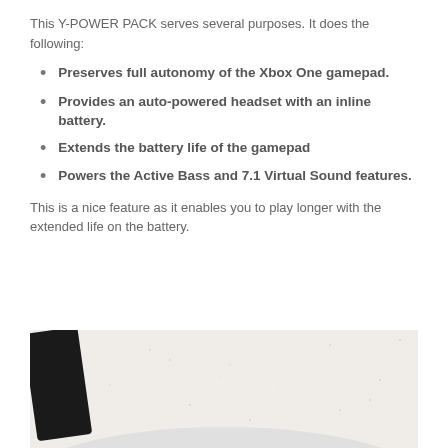This Y-POWER PACK serves several purposes. It does the following:
Preserves full autonomy of the Xbox One gamepad.
Provides an auto-powered headset with an inline battery.
Extends the battery life of the gamepad
Powers the Active Bass and 7.1 Virtual Sound features.
This is a nice feature as it enables you to play longer with the extended life on the battery.
[Figure (photo): A black cable/device component photographed against a speckled white/cream background, with a white curved surface visible at the bottom.]